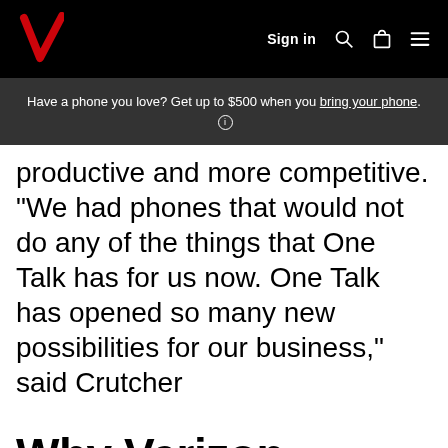Sign in
Have a phone you love? Get up to $500 when you bring your phone.
productive and more competitive. “We had phones that would not do any of the things that One Talk has for us now. One Talk has opened so many new possibilities for our business,” said Crutcher
Why Verizon
Whether you’re on the go or in the office, we